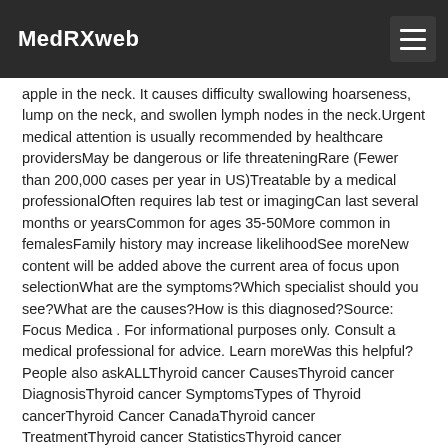MedRXweb
apple in the neck. It causes difficulty swallowing hoarseness, lump on the neck, and swollen lymph nodes in the neck.Urgent medical attention is usually recommended by healthcare providersMay be dangerous or life threateningRare (Fewer than 200,000 cases per year in US)Treatable by a medical professionalOften requires lab test or imagingCan last several months or yearsCommon for ages 35-50More common in femalesFamily history may increase likelihoodSee moreNew content will be added above the current area of focus upon selectionWhat are the symptoms?Which specialist should you see?What are the causes?How is this diagnosed?Source: Focus Medica . For informational purposes only. Consult a medical professional for advice. Learn moreWas this helpful?People also askALLThyroid cancer CausesThyroid cancer DiagnosisThyroid cancer SymptomsTypes of Thyroid cancerThyroid Cancer CanadaThyroid cancer TreatmentThyroid cancer StatisticsThyroid cancer EpidemiologyWhat are the four main types of thyroid cancer?What are the four main types of thyroid cancer?Types of thyroid cancer